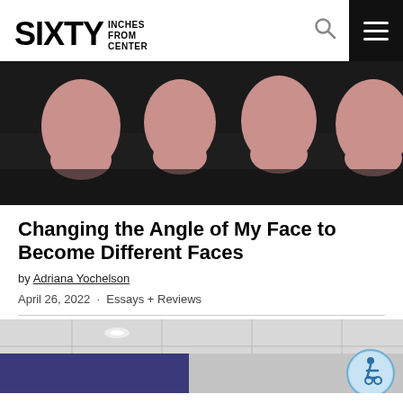SIXTY INCHES FROM CENTER
[Figure (photo): Black and white photo with four pink silhouettes of human heads/faces against a dark background]
Changing the Angle of My Face to Become Different Faces
by Adriana Yochelson
April 26, 2022  ·  Essays + Reviews
[Figure (photo): Interior photo showing a ceiling with recessed lighting and a dark blue wall panel, partial view]